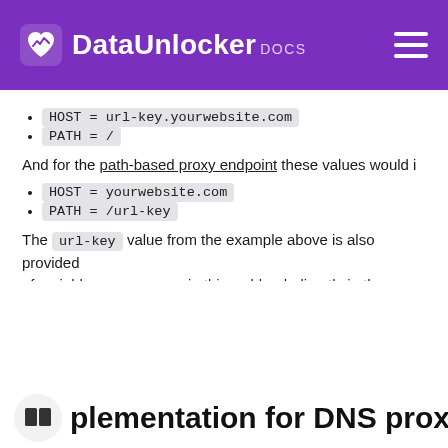DataUnlocker DOCS
HOST = url-key.yourwebsite.com
PATH = /
And for the path-based proxy endpoint these values would i…
HOST = yourwebsite.com
PATH = /url-key
The url-key value from the example above is also provided… of variables you can use in this webhook directly in the DataU…
plementation for DNS proxy c…